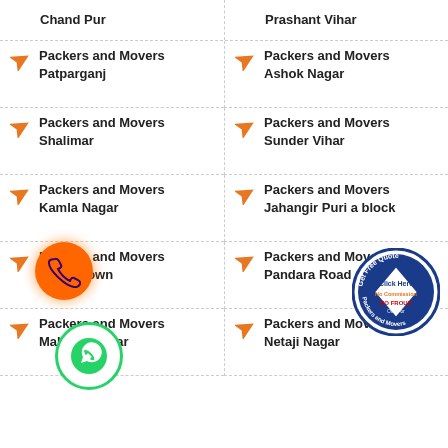Chand Pur
Prashant Vihar
Packers and Movers Patparganj
Packers and Movers Ashok Nagar
Packers and Movers Shalimar
Packers and Movers Sunder Vihar
Packers and Movers Kamla Nagar
Packers and Movers Jahangir Puri a block
Packers and Movers Model Town
Packers and Movers Pandara Road
Packers and Movers Mahavir Nagar
Packers and Movers Netaji Nagar